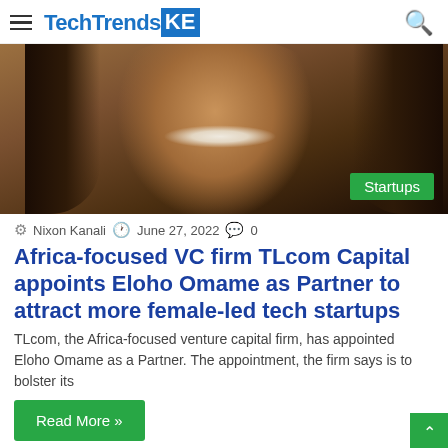TechTrendsKE
[Figure (photo): Portrait photo of a smiling woman with long hair, warm brown background. A green 'Startups' badge overlays the bottom-right corner.]
Nixon Kanali  June 27, 2022  0
Africa-focused VC firm TLcom Capital appoints Eloho Omame as Partner to attract more female-led tech startups
TLcom, the Africa-focused venture capital firm, has appointed Eloho Omame as a Partner. The appointment, the firm says is to bolster its
Read More »